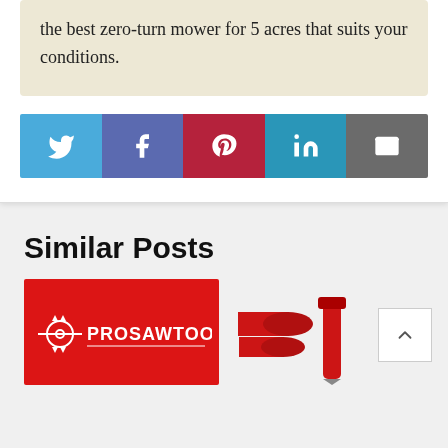the best zero-turn mower for 5 acres that suits your conditions.
[Figure (other): Social share buttons row: Twitter (blue), Facebook (purple-blue), Pinterest (red), LinkedIn (teal), Email (gray)]
Similar Posts
[Figure (photo): Red thumbnail image with ProSawTool logo in white]
[Figure (photo): Partial product image on gray background showing red cylindrical objects and red tool handle]